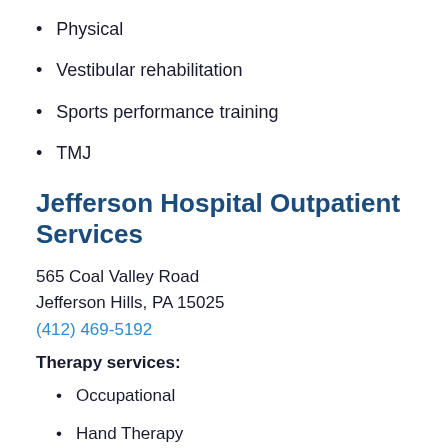Physical
Vestibular rehabilitation
Sports performance training
TMJ
Jefferson Hospital Outpatient Services
565 Coal Valley Road
Jefferson Hills, PA 15025
(412) 469-5192
Therapy services:
Occupational
Hand Therapy
Speech-language, including modified barium swallow